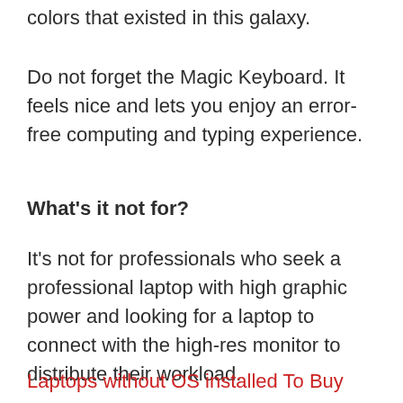colors that existed in this galaxy.
Do not forget the Magic Keyboard. It feels nice and lets you enjoy an error-free computing and typing experience.
What's it not for?
It's not for professionals who seek a professional laptop with high graphic power and looking for a laptop to connect with the high-res monitor to distribute their workload.
Laptops without OS installed To Buy